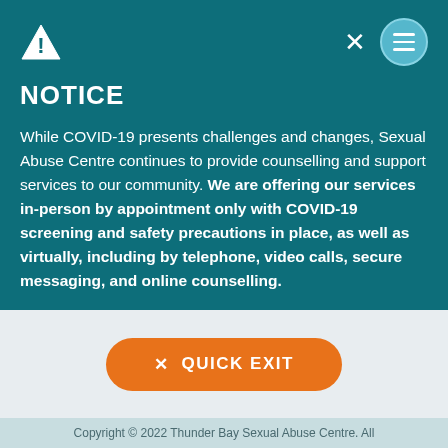NOTICE
While COVID-19 presents challenges and changes, Sexual Abuse Centre continues to provide counselling and support services to our community. We are offering our services in-person by appointment only with COVID-19 screening and safety precautions in place, as well as virtually, including by telephone, video calls, secure messaging, and online counselling.
× QUICK EXIT
Copyright © 2022 Thunder Bay Sexual Abuse Centre. All